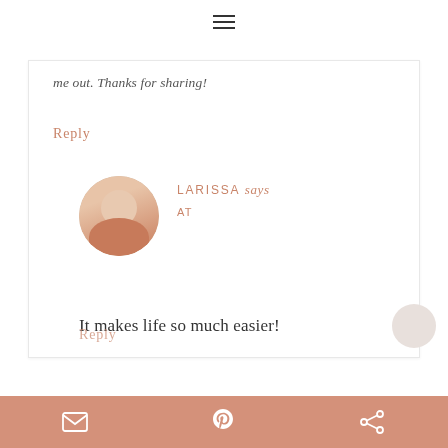≡
me out. Thanks for sharing!
Reply
LARISSA says
AT
[Figure (photo): Circular avatar photo of Larissa, a woman with long hair wearing a pink/salmon top, smiling, seated in what appears to be a room interior]
It makes life so much easier!
Reply